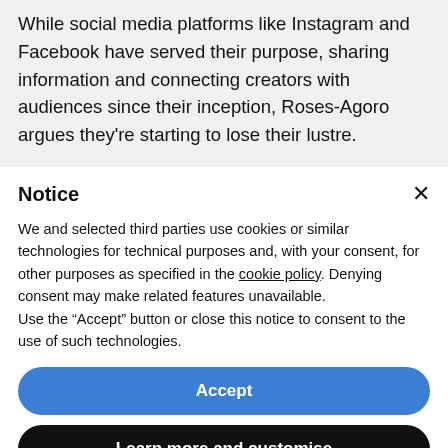While social media platforms like Instagram and Facebook have served their purpose, sharing information and connecting creators with audiences since their inception, Roses-Agoro argues they're starting to lose their lustre.
Notice
We and selected third parties use cookies or similar technologies for technical purposes and, with your consent, for other purposes as specified in the cookie policy. Denying consent may make related features unavailable.
Use the “Accept” button or close this notice to consent to the use of such technologies.
Accept
Learn more and customise